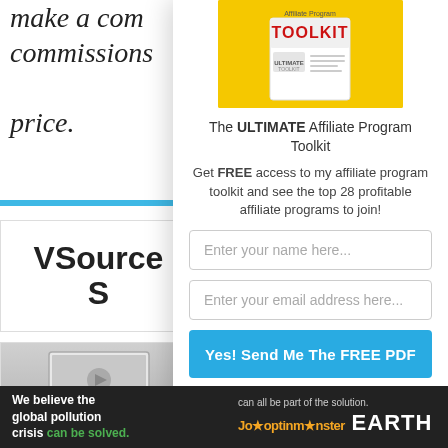make a com commissions price.
VSource S
[Figure (screenshot): iMac computer screenshot/photo]
[Figure (illustration): Affiliate Program Toolkit box on yellow background]
The ULTIMATE Affiliate Program Toolkit
Get FREE access to my affiliate program toolkit and see the top 28 profitable affiliate programs to join!
Enter your name here...
Enter your email address here...
Yes! Send Me The FREE PDF
We believe the global pollution crisis can be solved. can all be part of the solution. JooptinMonster EARTH